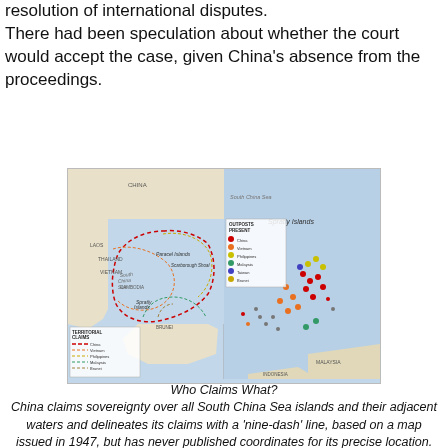resolution of international disputes. There had been speculation about whether the court would accept the case, given China's absence from the proceedings.
[Figure (map): Map showing territorial claims in the South China Sea, split into two panels: left panel showing overall regional claims with colored lines for China, Vietnam, Philippines, Malaysia, Brunei; right panel showing a detailed view of the Spratly Islands with colored dots representing outposts of different claimants.]
Who Claims What?
China claims sovereignty over all South China Sea islands and their adjacent waters and delineates its claims with a 'nine-dash' line, based on a map issued in 1947, but has never published coordinates for its precise location. China's claims overlap with those of Vietnam, Malaysia, Taiwan, Brunei and the Philippines.
Sources: Center for Strategic and International Studies (claim boundaries); U.S. Department of Defense (outposts)